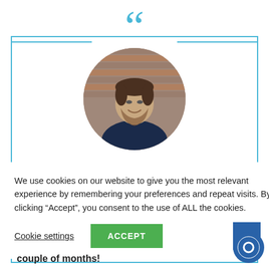[Figure (illustration): Large blue open quotation mark icon centered at the top of the page]
[Figure (photo): Circular profile photo of a young man with beard and dark shirt, standing in front of a brick wall]
We use cookies on our website to give you the most relevant experience by remembering your preferences and repeat visits. By clicking “Accept”, you consent to the use of ALL the cookies.
Cookie settings    ACCEPT
r CRM
d helped us
acts
l and a list
ease the
0% in just a
couple of months!